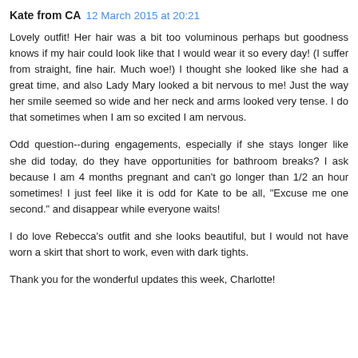Kate from CA  12 March 2015 at 20:21
Lovely outfit! Her hair was a bit too voluminous perhaps but goodness knows if my hair could look like that I would wear it so every day! (I suffer from straight, fine hair. Much woe!) I thought she looked like she had a great time, and also Lady Mary looked a bit nervous to me! Just the way her smile seemed so wide and her neck and arms looked very tense. I do that sometimes when I am so excited I am nervous.
Odd question--during engagements, especially if she stays longer like she did today, do they have opportunities for bathroom breaks? I ask because I am 4 months pregnant and can't go longer than 1/2 an hour sometimes! I just feel like it is odd for Kate to be all, "Excuse me one second." and disappear while everyone waits!
I do love Rebecca's outfit and she looks beautiful, but I would not have worn a skirt that short to work, even with dark tights.
Thank you for the wonderful updates this week, Charlotte!